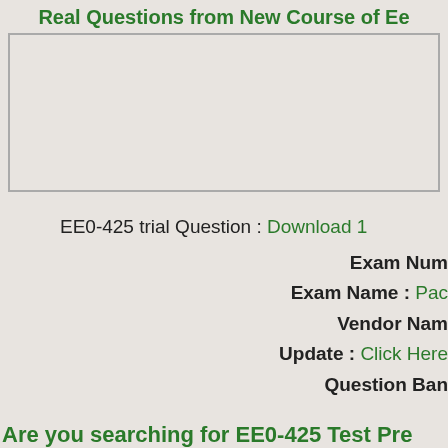Real Questions from New Course of Ee
[Figure (other): Empty bordered box area]
EE0-425 trial Question : Download 1
Exam Num
Exam Name : Pac
Vendor Nam
Update : Click Here
Question Ban
Are you searching for EE0-425 Test Pre